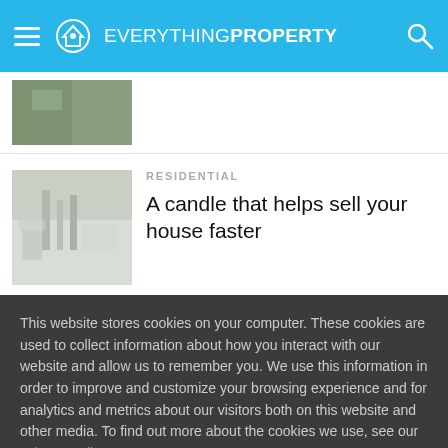Everything Property
[Figure (photo): Cropped image of a person writing or working at a desk, partially visible]
RESIDENTIAL
A candle that helps sell your house faster
[Figure (photo): Photo of candles and decorative items on a white surface]
This website stores cookies on your computer. These cookies are used to collect information about how you interact with our website and allow us to remember you. We use this information in order to improve and customize your browsing experience and for analytics and metrics about our visitors both on this website and other media. To find out more about the cookies we use, see our Privacy Policy
MANAGE COOKIES
ACCEPT ALL